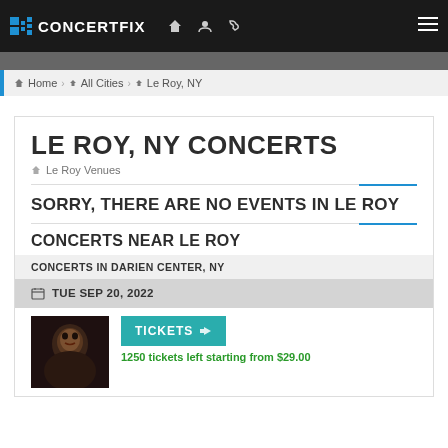CONCERTFIX
Home › All Cities › Le Roy, NY
LE ROY, NY CONCERTS
Le Roy Venues
SORRY, THERE ARE NO EVENTS IN LE ROY
CONCERTS NEAR LE ROY
CONCERTS IN DARIEN CENTER, NY
TUE SEP 20, 2022
TICKETS
1250 tickets left starting from $29.00